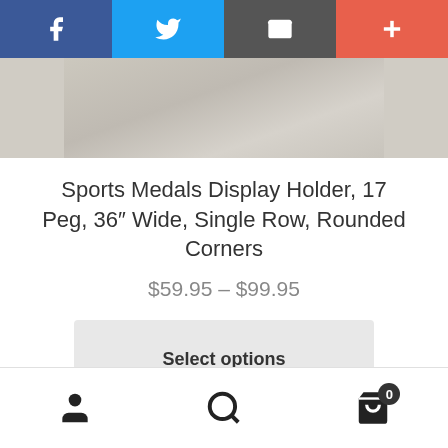[Figure (screenshot): Social sharing bar with Facebook, Twitter, Email, and Plus buttons]
[Figure (photo): Top portion of a product photo showing a light-colored fabric or wood texture]
Sports Medals Display Holder, 17 Peg, 36″ Wide, Single Row, Rounded Corners
$59.95 – $99.95
Select options
[Figure (photo): Bottom portion of a product photo showing medals or ribbons with decorative fabric]
[Figure (screenshot): Bottom navigation bar with account, search, and shopping cart icons. Cart shows badge with 0.]